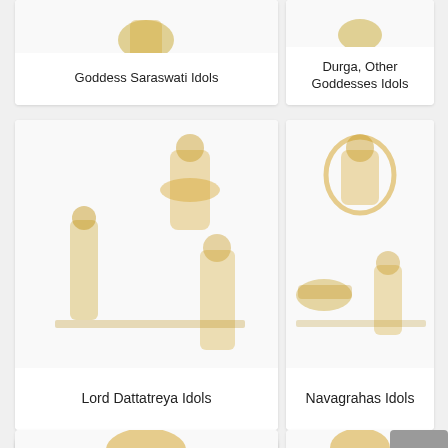[Figure (photo): Goddess Saraswati Idols - gold colored Hindu deity idol figurines]
Goddess Saraswati Idols
[Figure (photo): Durga, Other Goddesses Idols - gold colored Hindu deity idol figurines]
Durga, Other Goddesses Idols
[Figure (photo): Lord Dattatreya Idols - gold colored Hindu deity idol figurines]
Lord Dattatreya Idols
[Figure (photo): Navagrahas Idols - gold colored Hindu deity idol figurines]
Navagrahas Idols
[Figure (photo): Partial view of a gold colored Hindu deity idol figurine at bottom left]
[Figure (photo): Partial view of a gold colored Hindu deity idol figurine at bottom right]